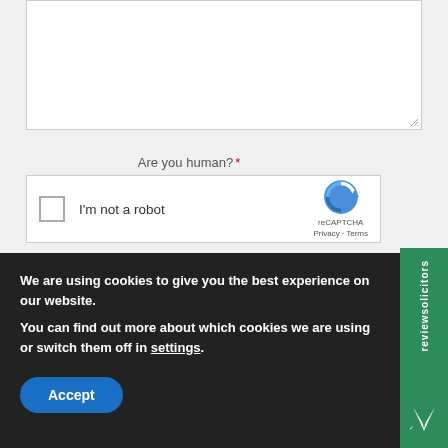[Figure (screenshot): Empty textarea input field with resize handle at bottom right]
Are you human? *
[Figure (screenshot): reCAPTCHA widget with checkbox labeled 'I'm not a robot' and reCAPTCHA logo with Privacy and Terms links]
Any data that you submit using this web form will be held by our firm's Data Controller and will be held securely for 12 months before being securely and confidentially destroyed. Your data will not be disclosed to any third parties without your consent or as otherwise allowed by the relevant Data Protection legislation and will only be used for responding to your query (or purposes associated with that purpose). You have the right to be in
We are using cookies to give you the best experience on our website.
You can find out more about which cookies we are using or switch them off in settings.
Accept